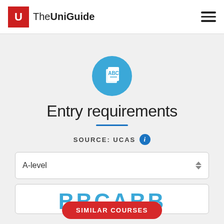The UniGuide
Entry requirements
SOURCE: UCAS
A-level
BBCABB
SIMILAR COURSES